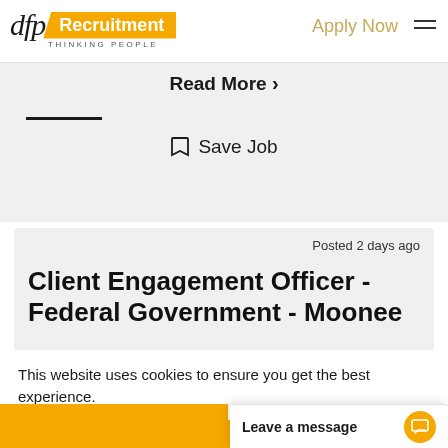[Figure (logo): DFP Recruitment logo with 'dfp' in italic serif font, orange badge with 'Recruitment' text in white, and tagline 'THINKING PEOPLE' below]
Apply Now
Read More →
Save Job
Posted 2 days ago
Client Engagement Officer - Federal Government - Moonee
This website uses cookies to ensure you get the best experience.
Got it!
Leave a message